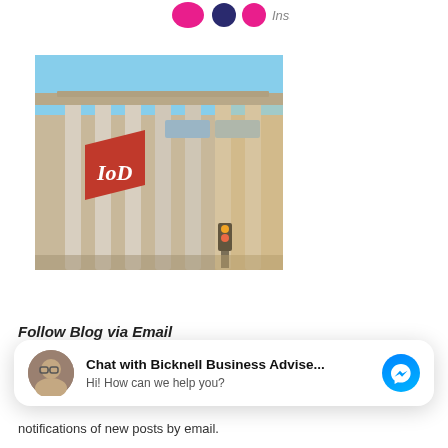Institute
[Figure (photo): Photograph of a classical neoclassical building with large columns and a red banner/flag with 'IoD' lettering, shot from a low angle against a blue sky.]
Chat with Bicknell Business Advise... Hi! How can we help you?
notifications of new posts by email.